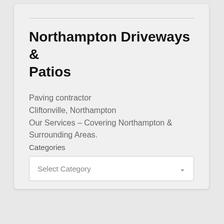Northampton Driveways & Patios
Paving contractor
Cliftonville, Northampton
Our Services – Covering Northampton & Surrounding Areas.
Categories
Select Category